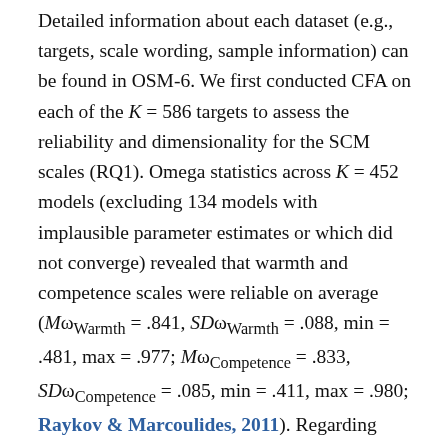Detailed information about each dataset (e.g., targets, scale wording, sample information) can be found in OSM-6. We first conducted CFA on each of the K = 586 targets to assess the reliability and dimensionality for the SCM scales (RQ1). Omega statistics across K = 452 models (excluding 134 models with implausible parameter estimates or which did not converge) revealed that warmth and competence scales were reliable on average (MωWarmth = .841, SDωWarmth = .088, min = .481, max = .977; MωCompetence = .833, SDωCompetence = .085, min = .411, max = .980; Raykov & Marcoulides, 2011). Regarding dimensionality, K = 204 models from 43 datasets showed satisfactory model-fit (34.81% of all targets), indicating that SCM scales demonstrated the theoretically expected